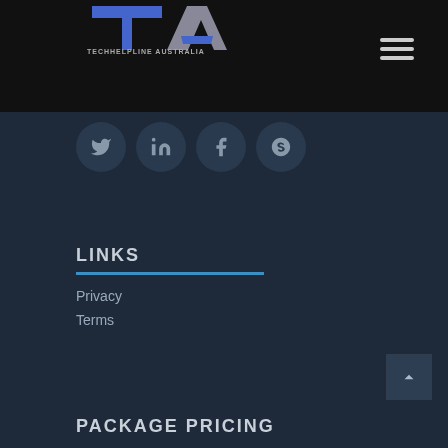[Figure (logo): TechHelpLine Australia logo with stylized TA letters in blue/grey on black background]
[Figure (illustration): Hamburger menu icon (three horizontal lines) in top right of black navigation bar]
[Figure (illustration): Four social media icons in circular dark buttons: Twitter, LinkedIn, Facebook, Skype]
LINKS
Privacy
Terms
PACKAGE PRICING